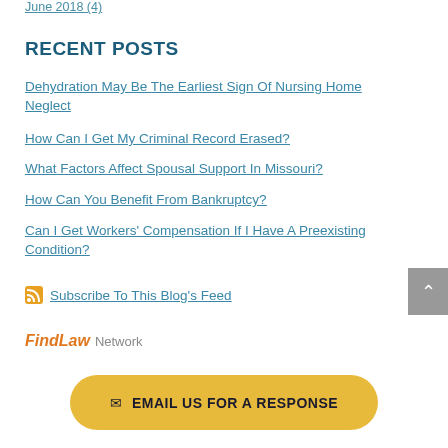June 2018 (4)
RECENT POSTS
Dehydration May Be The Earliest Sign Of Nursing Home Neglect
How Can I Get My Criminal Record Erased?
What Factors Affect Spousal Support In Missouri?
How Can You Benefit From Bankruptcy?
Can I Get Workers' Compensation If I Have A Preexisting Condition?
Subscribe To This Blog's Feed
FindLaw Network
EMAIL US FOR A RESPONSE